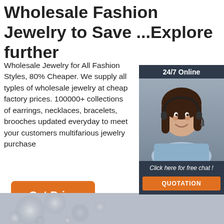Wholesale Fashion Jewelry to Save ...Explore further
Wholesale Jewelry for All Fashion Styles, 80% Cheaper. We supply all typles of wholesale jewelry at cheap factory prices. 100000+ collections of earrings, necklaces, bracelets, brooches updated everyday to meet your customers multifarious jewelry purchase
[Figure (photo): Customer support woman wearing headset, smiling, with '24/7 Online' header, 'Click here for free chat!' text, and 'QUOTATION' orange button]
[Figure (illustration): Orange 'TOP' button with dotted triangle arrow pointing upward]
[Figure (photo): Bottom strip with blurred bokeh lights background in grey/silver tones]
Get Price